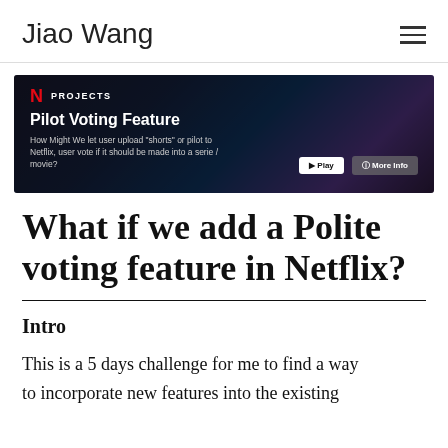Jiao Wang
[Figure (screenshot): Netflix-style project card showing 'Pilot Voting Feature' with Netflix N logo, PROJECTS label, description text 'How Might We let user upload "shorts" or pilot to Netflix, user vote if it should be made into a serie / movie?', Play and More Info buttons, dark cinematic background]
What if we add a Polite voting feature in Netflix?
Intro
This is a 5 days challenge for me to find a way to incorporate new features into the existing